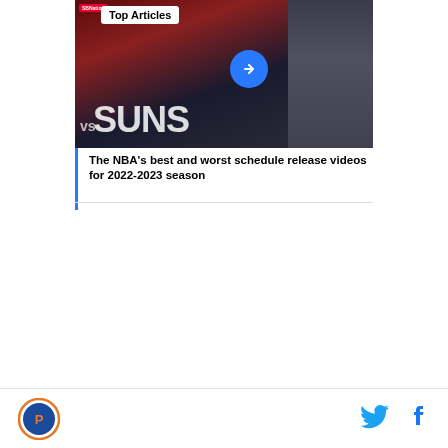[Figure (screenshot): Sports article card with NBA basketball game image showing 'vs SUNS' text overlay, SBNation logo, 'Top Articles' badge, three-dot menu, blue arrow navigation button, and player silhouette on right side]
The NBA's best and worst schedule release videos for 2022-2023 season
[Figure (logo): Circular sports team logo with orange border — site/team logo in footer]
[Figure (logo): Twitter bird icon (cyan/blue) in footer social icons]
[Figure (logo): Facebook 'f' icon in footer social icons]